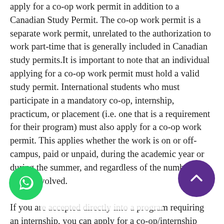apply for a co-op work permit in addition to a Canadian Study Permit. The co-op work permit is a separate work permit, unrelated to the authorization to work part-time that is generally included in Canadian study permits.It is important to note that an individual applying for a co-op work permit must hold a valid study permit. International students who must participate in a mandatory co-op, internship, practicum, or placement (i.e. one that is a requirement for their program) must also apply for a co-op work permit. This applies whether the work is on or off-campus, paid or unpaid, during the academic year or during the summer, and regardless of the number of hours involved.
If you are accepted directly into a program requiring an internship, you can apply for a co-op/internship work permit at the same time as you apply for your initial Study Permit. Once you receive your co-op work permit, you will
[Figure (other): WhatsApp contact button (green circle with WhatsApp logo) in bottom-left corner, and a purple scroll-to-top arrow button in bottom-right corner]